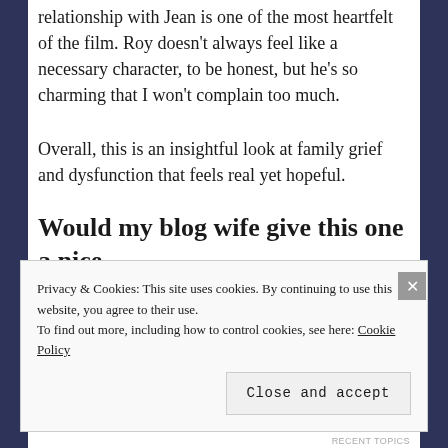relationship with Jean is one of the most heartfelt of the film. Roy doesn't always feel like a necessary character, to be honest, but he's so charming that I won't complain too much.
Overall, this is an insightful look at family grief and dysfunction that feels real yet hopeful.
Would my blog wife give this one a nice
Privacy & Cookies: This site uses cookies. By continuing to use this website, you agree to their use. To find out more, including how to control cookies, see here: Cookie Policy
Close and accept
RECENT TOPICS